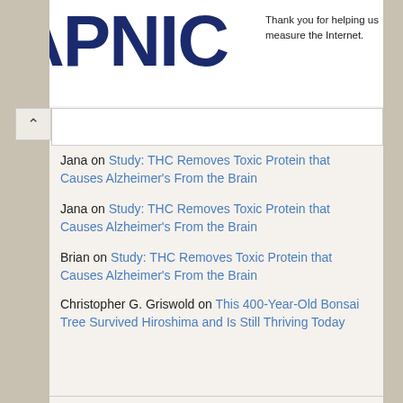[Figure (logo): APNIC logo in dark navy blue, large bold letters]
Thank you for helping us measure the Internet.
Jana on Study: THC Removes Toxic Protein that Causes Alzheimer's From the Brain
Jana on Study: THC Removes Toxic Protein that Causes Alzheimer's From the Brain
Brian on Study: THC Removes Toxic Protein that Causes Alzheimer's From the Brain
Christopher G. Griswold on This 400-Year-Old Bonsai Tree Survived Hiroshima and Is Still Thriving Today
Sarah on “Is Curing Patients a Sustainable Business Model?” Goldman Sachs Asks Shareholders
Archives
August 2022
July 2022